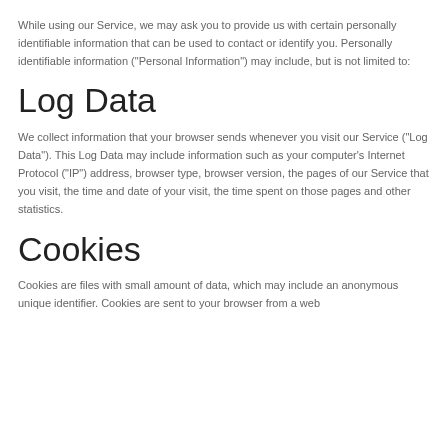While using our Service, we may ask you to provide us with certain personally identifiable information that can be used to contact or identify you. Personally identifiable information ("Personal Information") may include, but is not limited to:
Log Data
We collect information that your browser sends whenever you visit our Service ("Log Data"). This Log Data may include information such as your computer's Internet Protocol ("IP") address, browser type, browser version, the pages of our Service that you visit, the time and date of your visit, the time spent on those pages and other statistics.
Cookies
Cookies are files with small amount of data, which may include an anonymous unique identifier. Cookies are sent to your browser from a web